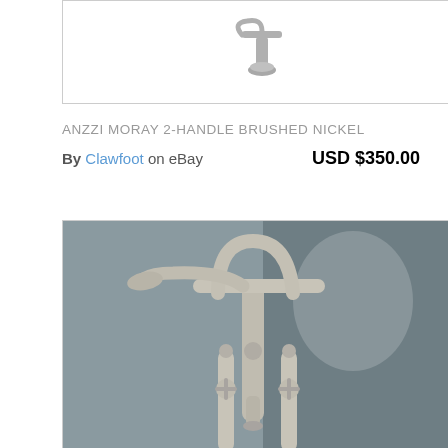[Figure (photo): Top portion of a brushed nickel faucet fixture, cropped, shown against white background]
ANZZI MORAY 2-HANDLE BRUSHED NICKEL
By Clawfoot on eBay   USD $350.00
[Figure (photo): Brushed nickel Anzzi Moray 2-handle freestanding bathtub faucet with cross handles and hand shower, shown against gray tile background]